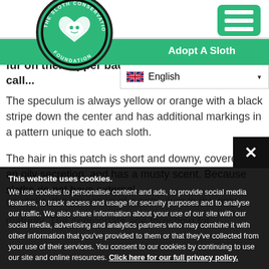[Figure (logo): Sloth Conservation Foundation circular logo — green circle with white sloth heart illustration and text 'THE SLOTH CONSERVATION FOUNDATION' around the border]
[Figure (screenshot): Green hamburger menu button (three horizontal white bars) in top right corner]
Donate | Adopt A Sloth
English (language selector with UK flag)
...three-fin... males have a br... fur on their upper back call...
The speculum is always yellow or orange with a black stripe down the center and has additional markings in a pattern unique to each sloth.
The hair in this patch is short and downy, covered in an oily secretion, and has a musty scent. Because sloths do not have external genitalia, the presence of a speculum is the only...
...maturity. The appropriate age threshold for...
This website uses cookies. We use cookies to personalise content and ads, to provide social media features, to track access and usage for security purposes and to analyse our traffic. We also share information about your use of our site with our social media, advertising and analytics partners who may combine it with other information that you've provided to them or that they've collected from your use of their services. You consent to our cookies by continuing to use our site and online resources. Click here for our full privacy policy.